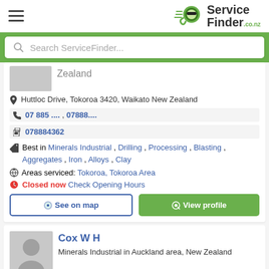ServiceFinder.co.nz
Search ServiceFinder...
Zealand
Huttloc Drive, Tokoroa 3420, Waikato New Zealand
07 885 .... , 07888....
078884362
Best in Minerals Industrial , Drilling , Processing , Blasting , Aggregates , Iron , Alloys , Clay
Areas serviced: Tokoroa, Tokoroa Area
Closed now Check Opening Hours
See on map
View profile
Cox W H
Minerals Industrial in Auckland area, New Zealand